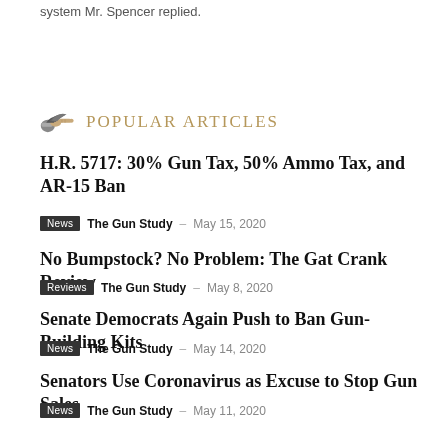system Mr. Spencer replied.
POPULAR ARTICLES
H.R. 5717: 30% Gun Tax, 50% Ammo Tax, and AR-15 Ban
News  The Gun Study  –  May 15, 2020
No Bumpstock? No Problem: The Gat Crank Review
Reviews  The Gun Study  –  May 8, 2020
Senate Democrats Again Push to Ban Gun-Building Kits
News  The Gun Study  –  May 14, 2020
Senators Use Coronavirus as Excuse to Stop Gun Sales
News  The Gun Study  –  May 11, 2020